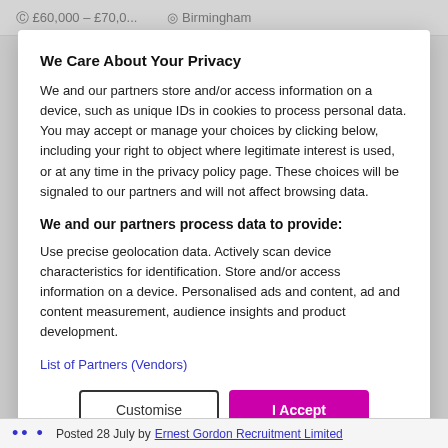£60,000 – £70,0...   Birmingham
We Care About Your Privacy
We and our partners store and/or access information on a device, such as unique IDs in cookies to process personal data. You may accept or manage your choices by clicking below, including your right to object where legitimate interest is used, or at any time in the privacy policy page. These choices will be signaled to our partners and will not affect browsing data.
We and our partners process data to provide:
Use precise geolocation data. Actively scan device characteristics for identification. Store and/or access information on a device. Personalised ads and content, ad and content measurement, audience insights and product development.
List of Partners (Vendors)
Posted 28 July by Ernest Gordon Recruitment Limited